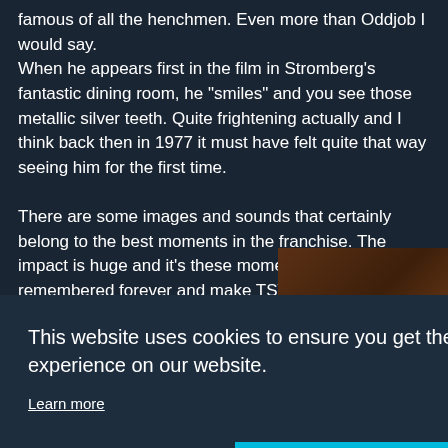famous of all the henchmen. Even more than Oddjob I would say.
When he appears first in the film in Stromberg's fantastic dining room, he "smiles" and you see those metallic silver teeth. Quite frightening actually and I think back then in 1977 it must have felt quite that way seeing him for the first time.

There are some images and sounds that certainly belong to the best moments in the franchise. The impact is huge and it's these moments that are remembered forever and make TSWLM the classic it is. I'd go so far to say only GF is as
This website uses cookies to ensure you get the best experience on our website.
Learn more
Decline    Allow cookies